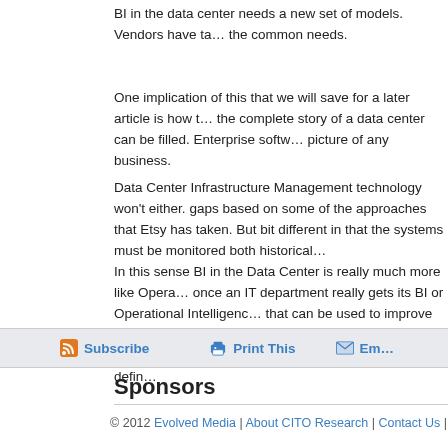BI in the data center needs a new set of models. Vendors have taken on the common needs.
One implication of this that we will save for a later article is how the complete story of a data center can be filled. Enterprise software picture of any business.
Data Center Infrastructure Management technology won't either. gaps based on some of the approaches that Etsy has taken. But bit different in that the systems must be monitored both historically.
In this sense BI in the Data Center is really much more like Operations Intelligence once an IT department really gets its BI or Operational Intelligence that can be used to improve the BI and Operational Intelligence systems. problem statement on Operational Intelligence for CITOs for a definition.
Subscribe | Print This | Em...
Sponsors
© 2012 Evolved Media | About CITO Research | Contact Us | Terms of